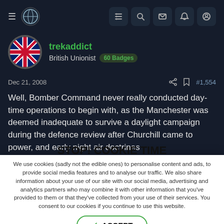trekaddict | British Unionist | 60 Badges
Dec 21, 2008   #1,554
Well, Bomber Command never really conducted day-time operations to begin with, as the Manchester was deemed inadequate to survive a daylight campaign during the defence review after Churchill came to power, and early night air doctrines
STOP! COOKIE TIME
We use cookies (sadly not the edible ones) to personalise content and ads, to provide social media features and to analyse our traffic. We also share information about your use of our site with our social media, advertising and analytics partners who may combine it with other information that you've provided to them or that they've collected from your use of their services. You consent to our cookies if you continue to use this website.
✓ ACCEPT